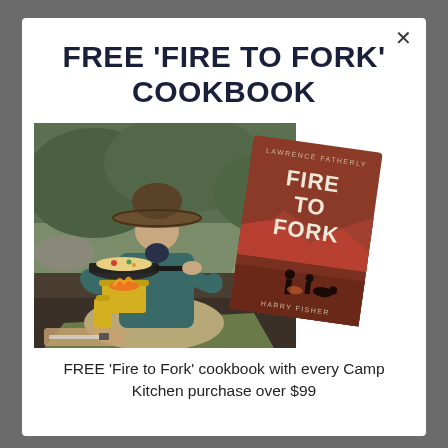FREE 'FIRE TO FORK' COOKBOOK
[Figure (photo): Person in wide-brim hat cooking in a pan over a camp stove outdoors, with a 'Fire to Fork' cookbook cover overlaid on the right side. Cookbook cover shows red desert landscape with 'FIRE TO FORK' text and author name 'HARRY FISHER'.]
FREE 'Fire to Fork' cookbook with every Camp Kitchen purchase over $99